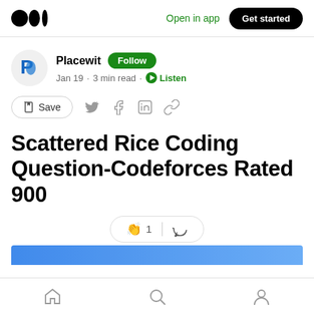Open in app  Get started
Placewit  Follow
Jan 19 · 3 min read · Listen
Save
Scattered Rice Coding Question-Codeforces Rated 900
👏 1  💬
Home  Search  Profile